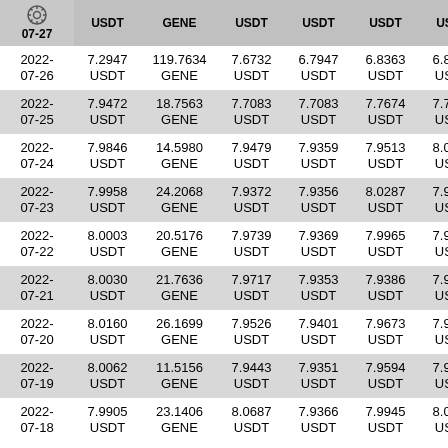| Date | Price | Volume | Open | Low | High | Close |
| --- | --- | --- | --- | --- | --- | --- |
| 2022-07-27 | USDT | GENE | USDT | USDT | USDT | USDT |
| 2022-07-26 | 7.2947 USDT | 119.7634 GENE | 7.6732 USDT | 6.7947 USDT | 6.8363 USDT | 6.8013 USDT |
| 2022-07-25 | 7.9472 USDT | 18.7563 GENE | 7.7083 USDT | 7.7083 USDT | 7.7674 USDT | 7.7881 USDT |
| 2022-07-24 | 7.9846 USDT | 14.5980 GENE | 7.9479 USDT | 7.9359 USDT | 7.9513 USDT | 8.0080 USDT |
| 2022-07-23 | 7.9958 USDT | 24.2068 GENE | 7.9372 USDT | 7.9356 USDT | 8.0287 USDT | 7.9885 USDT |
| 2022-07-22 | 8.0003 USDT | 20.5176 GENE | 7.9739 USDT | 7.9369 USDT | 7.9965 USDT | 7.9443 USDT |
| 2022-07-21 | 8.0030 USDT | 21.7636 GENE | 7.9717 USDT | 7.9353 USDT | 7.9386 USDT | 7.9386 USDT |
| 2022-07-20 | 8.0160 USDT | 26.1699 GENE | 7.9526 USDT | 7.9401 USDT | 7.9673 USDT | 7.9474 USDT |
| 2022-07-19 | 8.0062 USDT | 11.5156 GENE | 7.9443 USDT | 7.9351 USDT | 7.9594 USDT | 7.9526 USDT |
| 2022-07-18 | 7.9905 USDT | 23.1406 GENE | 8.0687 USDT | 7.9366 USDT | 7.9945 USDT | 8.0049 USDT |